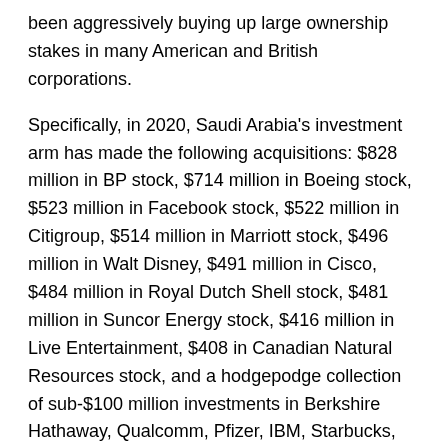been aggressively buying up large ownership stakes in many American and British corporations.
Specifically, in 2020, Saudi Arabia's investment arm has made the following acquisitions: $828 million in BP stock, $714 million in Boeing stock, $523 million in Facebook stock, $522 million in Citigroup, $514 million in Marriott stock, $496 million in Walt Disney, $491 million in Cisco, $484 million in Royal Dutch Shell stock, $481 million in Suncor Energy stock, $416 million in Live Entertainment, $408 in Canadian Natural Resources stock, and a hodgepodge collection of sub-$100 million investments in Berkshire Hathaway, Qualcomm, Pfizer, IBM, Starbucks, ADP, and Union Pacific. In addition, the Saudi Investment Fund purchased Newcastle United (you know you're in strong financial shape when a professional soccer team is only your 12th largest expenditure during the first half of the year).